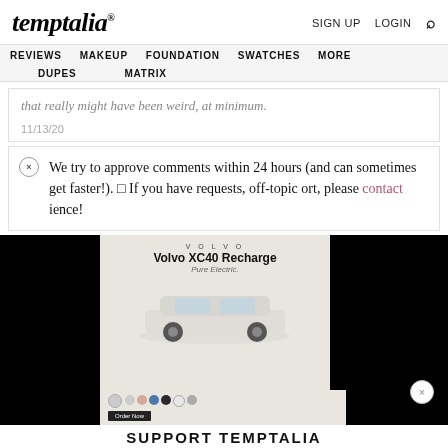temptalia® — SIGN UP   LOGIN   🔍
REVIEWS   MAKEUP   FOUNDATION   SWATCHES   MORE   DUPES   MATRIX
that really might have been weird, at minimum.
11/13/20
We try to approve comments within 24 hours (and can sometimes get faster!). If you have requests, off-topic ort, please contact ience!
[Figure (advertisement): Volvo XC40 Recharge Pure Electric advertisement with color selector and car image]
SUPPORT TEMPTALIA
Support Temptalia by shopping the retailers below! We earn